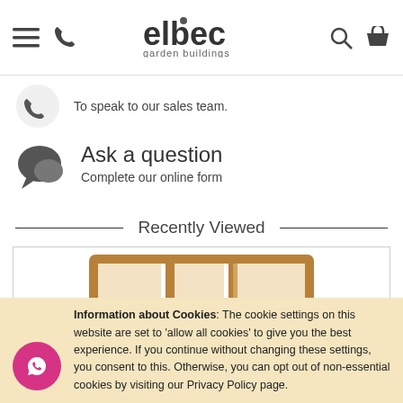elbec garden buildings — navigation header with menu, phone, search, and basket icons
To speak to our sales team.
Ask a question
Complete our online form
Recently Viewed
[Figure (illustration): Product image of a wooden garden building / fence panel frame shown in tan/brown wood color, three rectangular window openings visible]
Information about Cookies: The cookie settings on this website are set to 'allow all cookies' to give you the best experience. If you continue without changing these settings, you consent to this. Otherwise, you can opt out of non-essential cookies by visiting our Privacy Policy page.